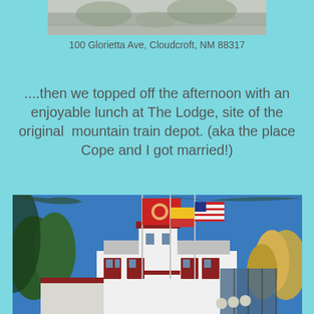[Figure (photo): Partial top photo showing a building or landscape, cropped at top of page]
100 Glorietta Ave, Cloudcroft, NM 88317
....then we topped off the afternoon with an enjoyable lunch at The Lodge, site of the original  mountain train depot. (aka the place Cope and I got married!)
[Figure (photo): Photo of The Lodge at Cloudcroft, a white building with red trim and a tower, three flagpoles with flags, surrounded by trees under a blue sky]